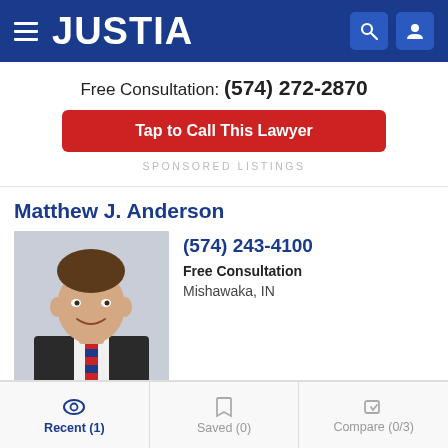JUSTIA
Free Consultation: (574) 272-2870
Tap to Call This Lawyer
SPONSORED LISTINGS
Matthew J. Anderson
[Figure (photo): Professional headshot of Matthew J. Anderson, a man in a dark suit with a red striped tie, smiling. PREMIUM badge at bottom.]
(574) 243-4100
Free Consultation
Mishawaka, IN
Website | Call | Email
Recent (1) | Saved (0) | Compare (0/3)